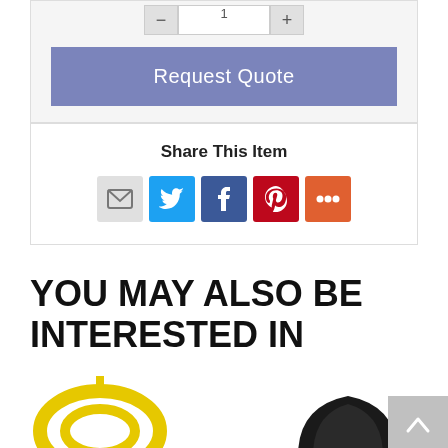[Figure (screenshot): Request Quote button section with quantity selector buttons and input field]
Request Quote
Share This Item
[Figure (infographic): Social sharing icons: email (grey), Twitter (blue bird), Facebook (blue f), Pinterest (red P), More (orange plus)]
YOU MAY ALSO BE INTERESTED IN
[Figure (photo): Yellow coiled cable/wire product image at bottom left]
[Figure (photo): Dark colored product image at bottom right]